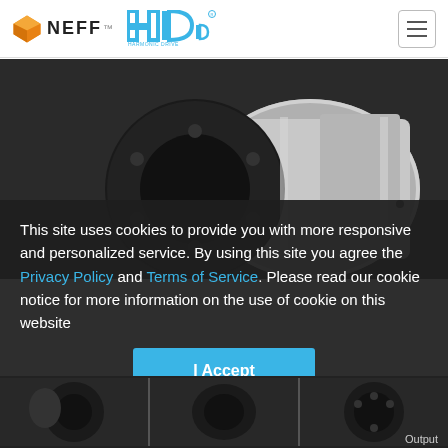[Figure (logo): NEFF logo with orange 3D cube icon and NEFF text, alongside Harmonic Drive HD logo in blue]
[Figure (photo): Harmonic Drive precision gear/actuator component, black and silver cylindrical unit, photographed on dark background]
This site uses cookies to provide you with more responsive and personalized service. By using this site you agree the Privacy Policy and Terms of Service. Please read our cookie notice for more information on the use of cookie on this website
[Figure (other): I Accept button (blue rectangular button)]
[Figure (photo): Thumbnail strip showing three small product images of Harmonic Drive components]
Output